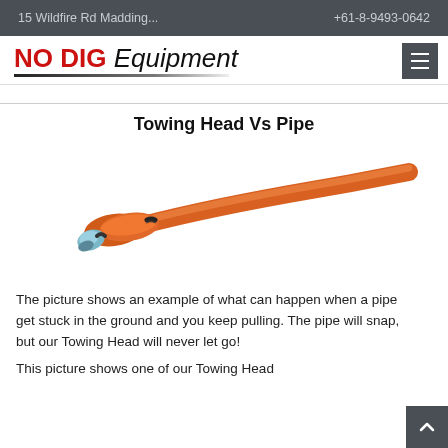15 Wildfire Rd Madding...   +61-8-9493-0642
[Figure (logo): NO DIG Equipment logo with red bold NO DIG text and italic Equipment text, with decorative underline]
Towing Head Vs Pipe
[Figure (photo): Orange towing head attached to an orange pipe, showing the pipe snapping while the towing head remains intact. The towing head has a metal swivel connector at one end and the orange pipe curves upward to the right.]
The picture shows an example of what can happen when a pipe get stuck in the ground and you keep pulling. The pipe will snap, but our Towing Head will never let go!
This picture shows one of our Towing Head